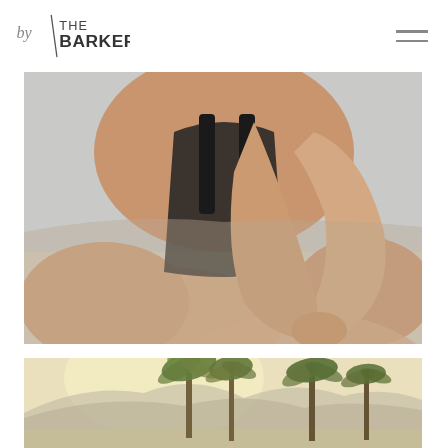by THE BARKERS
[Figure (photo): Close-up photo of a woman in a black sports bra/top lying on a light surface, arms crossed in front of her, resting her chin on her hands.]
[Figure (photo): Photo of tall palm trees with mountains in the background, bright hazy sunlight, outdoor scenic view.]